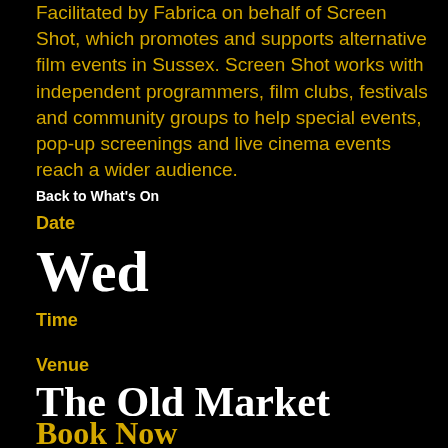Facilitated by Fabrica on behalf of Screen Shot, which promotes and supports alternative film events in Sussex. Screen Shot works with independent programmers, film clubs, festivals and community groups to help special events, pop-up screenings and live cinema events reach a wider audience.
Back to What's On
Date
Wed
Time
Venue
The Old Market
Book Now